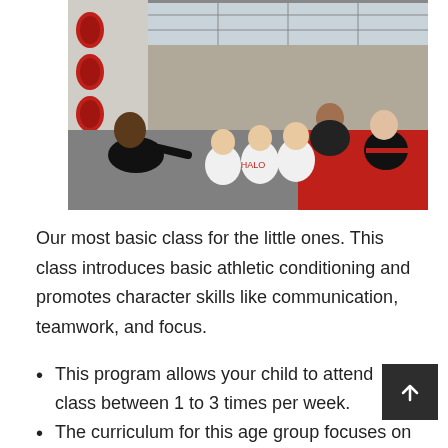[Figure (photo): Martial arts instructor sitting on the floor facing a group of young children in white gi uniforms. Another instructor in black uniform kneels in the background. Red punch pads hang on the wall. The setting is a martial arts dojo with gray and red mats.]
Our most basic class for the little ones. This class introduces basic athletic conditioning and promotes character skills like communication, teamwork, and focus.
This program allows your child to attend class between 1 to 3 times per week.
The curriculum for this age group focuses on the